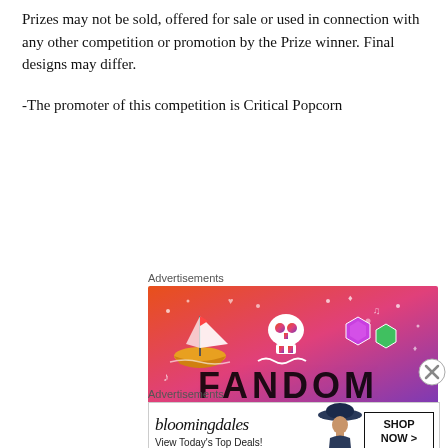Prizes may not be sold, offered for sale or used in connection with any other competition or promotion by the Prize winner. Final designs may differ.
-The promoter of this competition is Critical Popcorn
Advertisements
[Figure (illustration): Fandom advertisement banner with colorful gradient background (orange to purple) featuring a sailboat, skull, dice, and text 'FANDOM']
Advertisements
[Figure (illustration): Bloomingdales advertisement banner showing logo, 'View Today's Top Deals!' text, a woman in a hat, and 'SHOP NOW >' button]